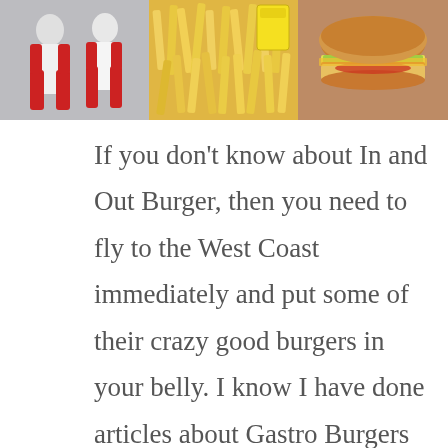[Figure (photo): Three-panel food photo strip showing (left) restaurant workers in white uniforms and red gloves, (center) a pile of golden french fries with a yellow container, (right) a cheeseburger with lettuce and tomato]
If you don't know about In and Out Burger, then you need to fly to the West Coast immediately and put some of their crazy good burgers in your belly.  I know I have done articles about Gastro Burgers and sung their praises but there is something about the simplicity of a good old fashioned In And Out burger that makes my stomach smile.  You can ask Kat, when I enter a state that has an In and Out located within its borders (Arizona, California, Nevada, Texas, or Utah) we are driving until In and Out is in my belly.
Before I get a hundred nasty grams from you guys, I should clarify that I am fully aware that it is just a burger and fries from yet another fast food